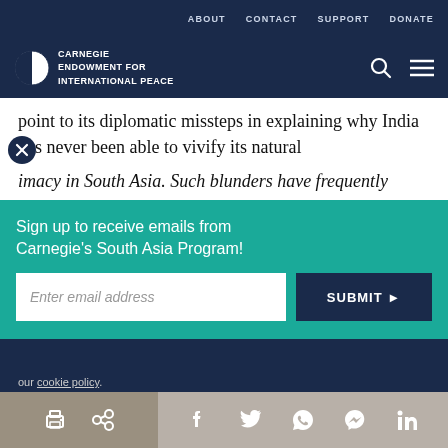ABOUT  CONTACT  SUPPORT  DONATE
[Figure (logo): Carnegie Endowment for International Peace logo with globe icon and navigation icons (search, menu)]
point to its diplomatic missteps in explaining why India has never been able to vivify its natural primacy in South Asia. Such blunders have frequently
Sign up to receive emails from Carnegie's South Asia Program!
Enter email address
SUBMIT ▶
our cookie policy.
Print | Share | Facebook | Twitter | WhatsApp | Messenger | LinkedIn